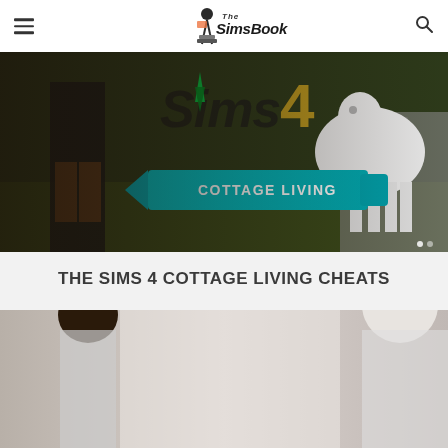The SimsBook
[Figure (photo): The Sims 4 Cottage Living expansion pack promotional image showing a Sim in a black outfit and a white llama/goat, with the Sims 4 logo and 'COTTAGE LIVING' banner in teal]
THE SIMS 4 COTTAGE LIVING CHEATS
[Figure (photo): Partially visible screenshot from The Sims 4 Cottage Living showing characters, cropped at bottom of page]